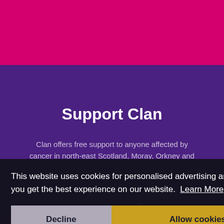[Figure (screenshot): Top magenta/pink banner with partial logo text visible at the top]
Support Clan
Clan offers free support to anyone affected by cancer in north-east Scotland, Moray, Orkney and
[Figure (other): Donate button circle outline partially visible behind cookie consent banner]
This website uses cookies for personalised advertising and to ensure you get the best experience on our website. Learn More
Decline
Allow cookies